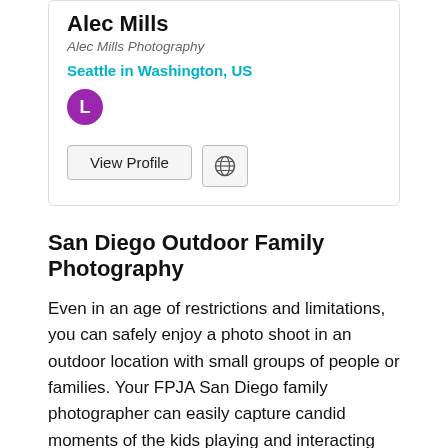Alec Mills
Alec Mills Photography
Seattle in Washington, US
[Figure (other): Purple avatar circle with letter L]
View Profile
San Diego Outdoor Family Photography
Even in an age of restrictions and limitations, you can safely enjoy a photo shoot in an outdoor location with small groups of people or families. Your FPJA San Diego family photographer can easily capture candid moments of the kids playing and interacting from a safe distance. These days, outdoor sessions are often the best option for genuine photographs, because people of all ages feel more comfortable and laid back while they are outside and unrestricted. In these large, open spaces, you and your family can